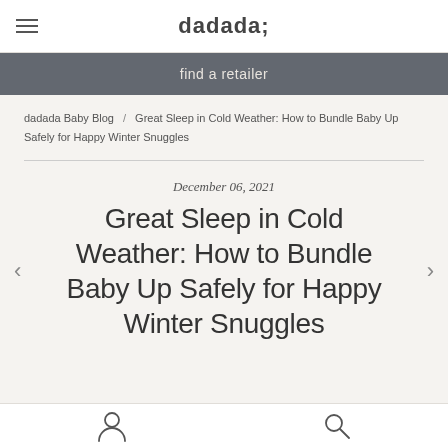dadada;
find a retailer
dadada Baby Blog / Great Sleep in Cold Weather: How to Bundle Baby Up Safely for Happy Winter Snuggles
December 06, 2021
Great Sleep in Cold Weather: How to Bundle Baby Up Safely for Happy Winter Snuggles